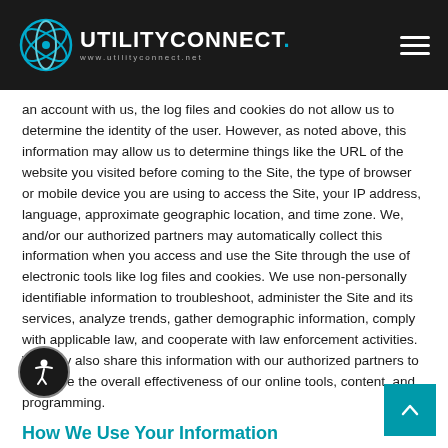[Figure (logo): UtilityConnect logo with globe/atom icon and www.utilityconnect.net URL, white text on dark background, hamburger menu icon in top right]
an account with us, the log files and cookies do not allow us to determine the identity of the user. However, as noted above, this information may allow us to determine things like the URL of the website you visited before coming to the Site, the type of browser or mobile device you are using to access the Site, your IP address, language, approximate geographic location, and time zone. We, and/or our authorized partners may automatically collect this information when you access and use the Site through the use of electronic tools like log files and cookies. We use non-personally identifiable information to troubleshoot, administer the Site and its services, analyze trends, gather demographic information, comply with applicable law, and cooperate with law enforcement activities. We may also share this information with our authorized partners to measure the overall effectiveness of our online tools, content, and programming.
How We Use Your Information